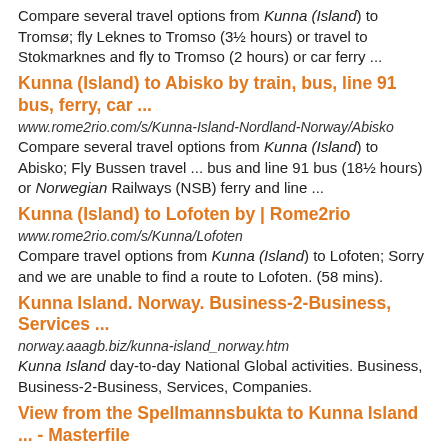Compare several travel options from Kunna (Island) to Tromsø; fly Leknes to Tromso (3½ hours) or travel to Stokmarknes and fly to Tromso (2 hours) or car ferry ...
Kunna (Island) to Abisko by train, bus, line 91 bus, ferry, car ...
www.rome2rio.com/s/Kunna-Island-Nordland-Norway/Abisko
Compare several travel options from Kunna (Island) to Abisko; Fly Bussen travel ... bus and line 91 bus (18½ hours) or Norwegian Railways (NSB) ferry and line ...
Kunna (Island) to Lofoten by | Rome2rio
www.rome2rio.com/s/Kunna/Lofoten
Compare travel options from Kunna (Island) to Lofoten; Sorry and we are unable to find a route to Lofoten. (58 mins).
Kunna Island. Norway. Business-2-Business, Services ...
norway.aaagb.biz/kunna-island_norway.htm
Kunna Island day-to-day National Global activities. Business, Business-2-Business, Services, Companies.
View from the Spellmannsbukta to Kunna Island ... - Masterfile
www.masterfile.com/...View%20from%20the%20Spellmannsbukta